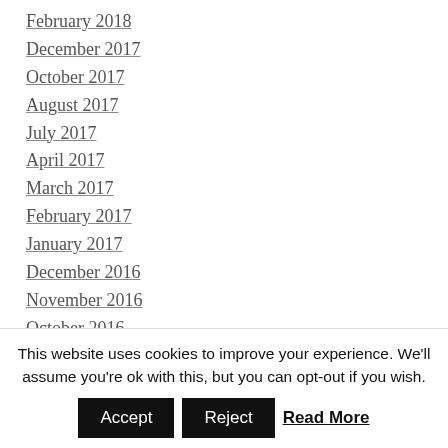February 2018
December 2017
October 2017
August 2017
July 2017
April 2017
March 2017
February 2017
January 2017
December 2016
November 2016
October 2016
July 2016
June 2016
May 2016
This website uses cookies to improve your experience. We'll assume you're ok with this, but you can opt-out if you wish. Accept Reject Read More